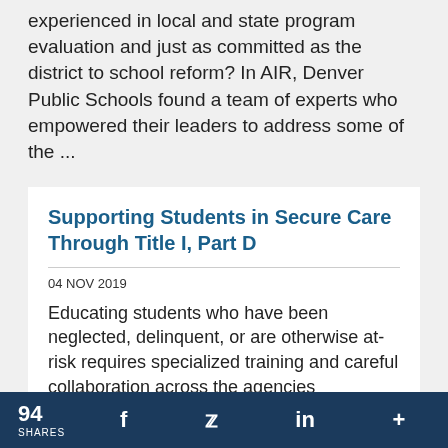experienced in local and state program evaluation and just as committed as the district to school reform? In AIR, Denver Public Schools found a team of experts who empowered their leaders to address some of the ...
Supporting Students in Secure Care Through Title I, Part D
04 NOV 2019
Educating students who have been neglected, delinquent, or are otherwise at-risk requires specialized training and careful collaboration across the agencies responsible for serving for these students. For this reason, each state receives funding from the U.S. Department of Education
94 SHARES  f  t  in  +